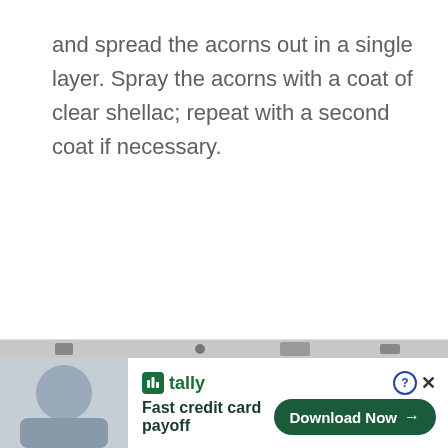and spread the acorns out in a single layer. Spray the acorns with a coat of clear shellac; repeat with a second coat if necessary.
[Figure (other): Advertisement banner for Tally app with photo strip at top, Tally logo, tagline 'Fast credit card payoff', and 'Download Now' button]